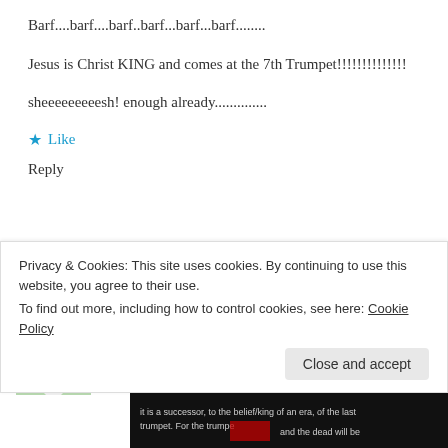Barf....barf....barf..barf...barf...barf........
Jesus is Christ KING and comes at the 7th Trumpet!!!!!!!!!!!!!!
sheeeeeeeeesh! enough already..............
★ Like
Reply
Robert Pickle
March 17, 2018 at 9:46 pm
Privacy & Cookies: This site uses cookies. By continuing to use this website, you agree to their use.
To find out more, including how to control cookies, see here: Cookie Policy
Close and accept
[Figure (screenshot): Dark thumbnail image at the bottom of the page with text overlay]